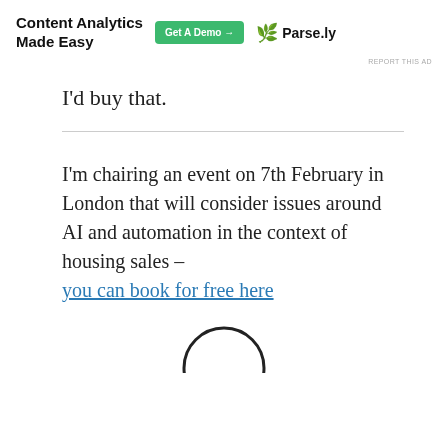[Figure (other): Advertisement banner: 'Content Analytics Made Easy' with a green 'Get A Demo →' button and Parse.ly logo with leaf icon]
REPORT THIS AD
I'd buy that.
I'm chairing an event on 7th February in London that will consider issues around AI and automation in the context of housing sales – you can book for free here
[Figure (other): Partial circular profile image visible at bottom of page]